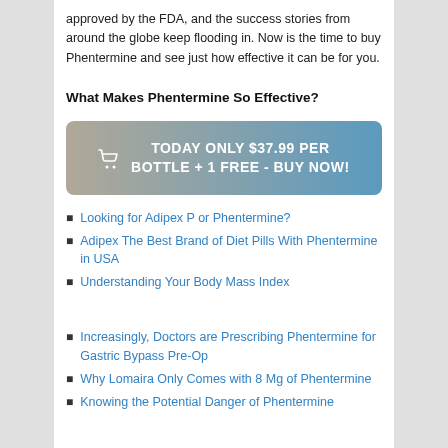approved by the FDA, and the success stories from around the globe keep flooding in. Now is the time to buy Phentermine and see just how effective it can be for you.
What Makes Phentermine So Effective?
[Figure (other): Call-to-action button with shopping cart icon reading 'TODAY ONLY $37.99 PER BOTTLE + 1 FREE - BUY NOW!' with gradient background from tan to blue]
Looking for Adipex P or Phentermine?
Adipex The Best Brand of Diet Pills With Phentermine in USA
Understanding Your Body Mass Index
Increasingly, Doctors are Prescribing Phentermine for Gastric Bypass Pre-Op
Why Lomaira Only Comes with 8 Mg of Phentermine
Knowing the Potential Danger of Phentermine